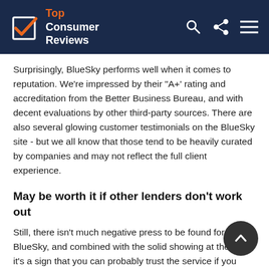Top Consumer Reviews
Surprisingly, BlueSky performs well when it comes to reputation. We're impressed by their "A+' rating and accreditation from the Better Business Bureau, and with decent evaluations by other third-party sources. There are also several glowing customer testimonials on the BlueSky site - but we all know that those tend to be heavily curated by companies and may not reflect the full client experience.
May be worth it if other lenders don't work out
Still, there isn't much negative press to be found for BlueSky, and combined with the solid showing at the BBB, it's a sign that you can probably trust the service if you choose to use it to find an auto loan. Is